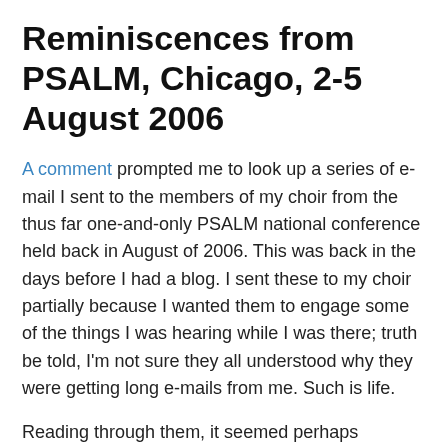Reminiscences from PSALM, Chicago, 2-5 August 2006
A comment prompted me to look up a series of e-mail I sent to the members of my choir from the thus far one-and-only PSALM national conference held back in August of 2006. This was back in the days before I had a blog. I sent these to my choir partially because I wanted them to engage some of the things I was hearing while I was there; truth be told, I'm not sure they all understood why they were getting long e-mails from me. Such is life.
Reading through them, it seemed perhaps worthwhile to share some of those notes here. My perception — and someone can correct me if I'm wrong — is that PSALM peaked with this event; I think there was talk back then about trying to set up regional PSALM identities and